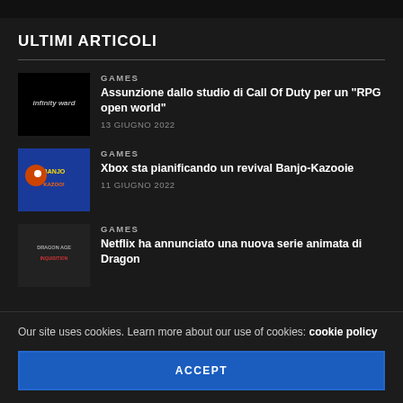ULTIMI ARTICOLI
GAMES | Assunzione dallo studio di Call Of Duty per un “RPG open world” | 13 GIUGNO 2022
GAMES | Xbox sta pianificando un revival Banjo-Kazooie | 11 GIUGNO 2022
GAMES | Netflix ha annunciato una nuova serie animata di Dragon
Our site uses cookies. Learn more about our use of cookies: cookie policy
ACCEPT